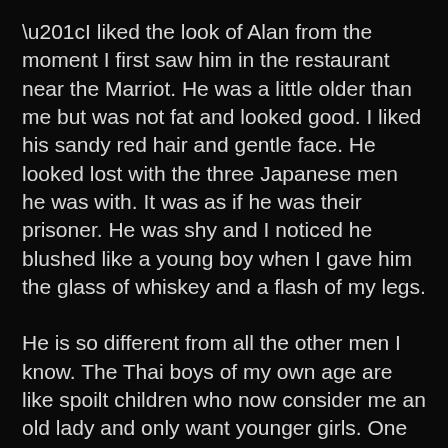“I liked the look of Alan from the moment I first saw him in the restaurant near the Marriot. He was a little older than me but was not fat and looked good. I liked his sandy red hair and gentle face. He looked lost with the three Japanese men he was with. It was as if he was their prisoner. He was shy and I noticed he blushed like a young boy when I gave him the glass of whiskey and a flash of my legs.
He is so different from all the other men I know. The Thai boys of my own age are like spoilt children who now consider me an old lady and only want younger girls. One of the older Thai men I worked with wanted me as his Mia Noi (mistress) which my father would never allow for sure. The Japanese men I